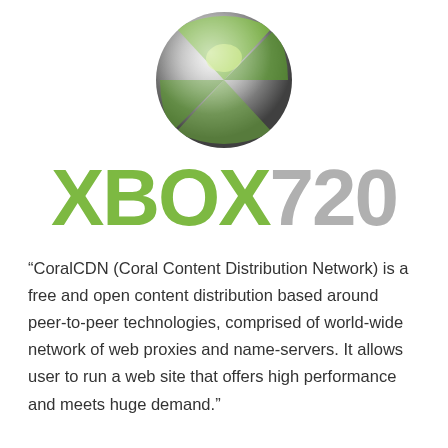[Figure (logo): Xbox 360/720 logo — metallic grey sphere with green X highlight and green curved lines]
XBOX 720
“CoralCDN (Coral Content Distribution Network) is a free and open content distribution based around peer-to-peer technologies, comprised of world-wide network of web proxies and name-servers. It allows user to run a web site that offers high performance and meets huge demand.”